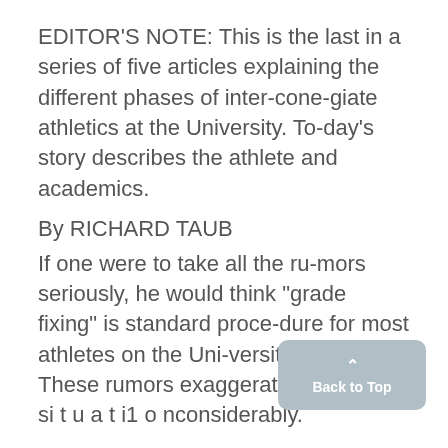EDITOR'S NOTE: This is the last in a series of five articles explaining the different phases of inter-cone-giate athletics at the University. Today's story describes the athlete and academics.
By RICHARD TAUB
If one were to take all the rumors seriously, he would think "grade fixing" is standard procedure for most athletes on the University campus. ' These rumors exaggerate f.the actual si t u a t i1 o nconsiderably.